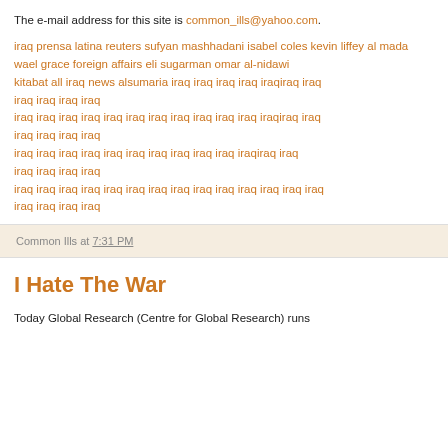The e-mail address for this site is common_ills@yahoo.com.
iraq prensa latina reuters sufyan mashhadani isabel coles kevin liffey al mada wael grace foreign affairs eli sugarman omar al-nidawi kitabat all iraq news alsumaria iraq iraq iraq iraq iraqiraq iraq iraq iraq iraq iraq iraq iraq iraq iraq iraq iraq iraq iraq iraq iraq iraq iraq iraq iraq iraq iraqiraq iraq iraq iraq iraq iraq iraq iraq iraq iraq iraq iraq iraq iraq iraq iraq iraq iraq iraq iraqiraq iraq iraq iraq iraq iraq iraq iraq iraq iraq iraq iraq iraq iraq iraq iraq iraq iraq iraq iraq iraq iraq iraq iraq iraq iraq iraq
Common Ills at 7:31 PM
I Hate The War
Today Global Research (Centre for Global Research) runs